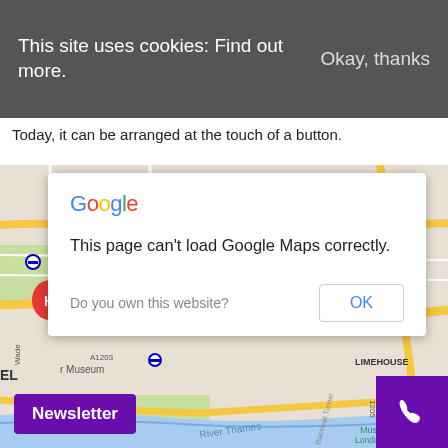This site uses cookies: Find out more.   Okay, thanks
Today, it can be arranged at the touch of a button.
[Figure (screenshot): Google Maps embed showing London area (Ratcliff, Limehouse, River Thames, A1203, Cable St) with a Google Maps error dialog overlay saying 'This page can't load Google Maps correctly.' with a 'Do you own this website?' prompt and an OK button.]
Newsletter
[Figure (other): Purple phone icon button in bottom right corner]